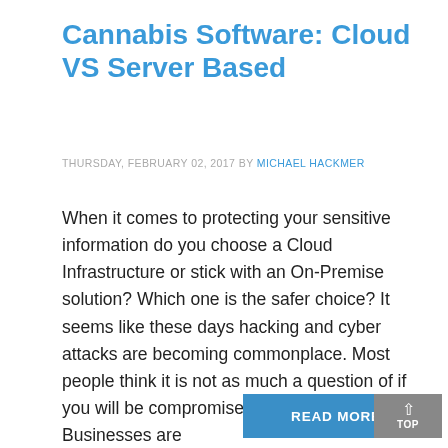Cannabis Software: Cloud VS Server Based
THURSDAY, FEBRUARY 02, 2017 BY MICHAEL HACKMER
When it comes to protecting your sensitive information do you choose a Cloud Infrastructure or stick with an On-Premise solution? Which one is the safer choice? It seems like these days hacking and cyber attacks are becoming commonplace. Most people think it is not as much a question of if you will be compromised but when. Businesses are